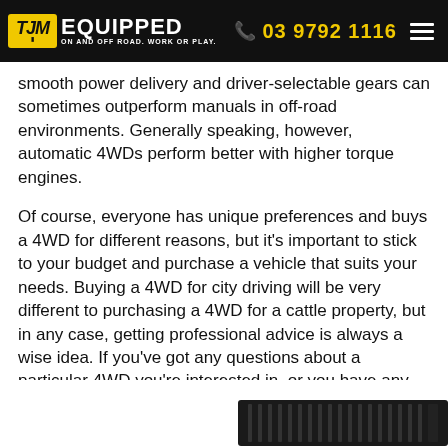TJM EQUIPPED | ON AND OFF ROAD. WORK OR PLAY. | 03 9792 1116
smooth power delivery and driver-selectable gears can sometimes outperform manuals in off-road environments. Generally speaking, however, automatic 4WDs perform better with higher torque engines.
Of course, everyone has unique preferences and buys a 4WD for different reasons, but it's important to stick to your budget and purchase a vehicle that suits your needs. Buying a 4WD for city driving will be very different to purchasing a 4WD for a cattle property, but in any case, getting professional advice is always a wise idea. If you've got any questions about a particular 4WD you're interested in, or you have any queries regarding 4WD products or accessories, get in contact with the specialists at TJM Dandenong by phoning 03 9792 1116.
[Figure (photo): Partial product image visible at bottom right of page, appears to show a dark-coloured 4WD accessory or equipment component]